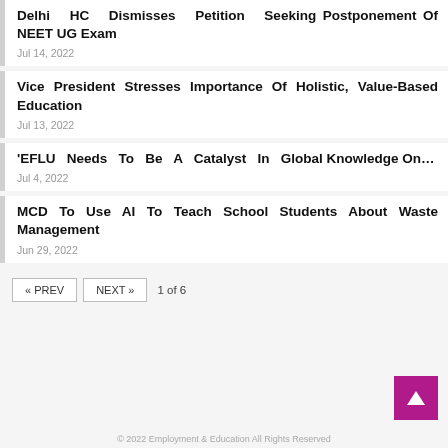Delhi HC Dismisses Petition Seeking Postponement Of NEET UG Exam
Jul 14, 2022
Vice President Stresses Importance Of Holistic, Value-Based Education
Jul 13, 2022
'EFLU Needs To Be A Catalyst In Global Knowledge On...
Jul 4, 2022
MCD To Use AI To Teach School Students About Waste Management
Jun 29, 2022
« PREV   NEXT »   1 of 6
© 2022 Employment & Education All Rights Reserved